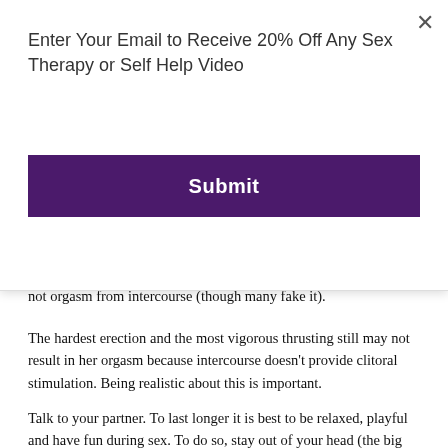Enter Your Email to Receive 20% Off Any Sex Therapy or Self Help Video
Submit
not orgasm from intercourse (though many fake it).
The hardest erection and the most vigorous thrusting still may not result in her orgasm because intercourse doesn't provide clitoral stimulation. Being realistic about this is important.
Talk to your partner. To last longer it is best to be relaxed, playful and have fun during sex. To do so, stay out of your head (the big one, I mean). You may shift your attention to slow your pace towards ejaculation.